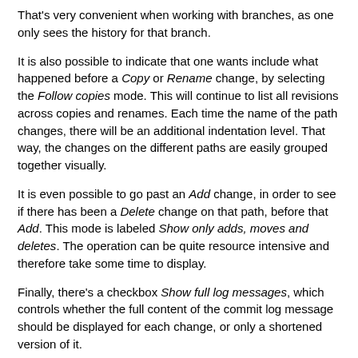That's very convenient when working with branches, as one only sees the history for that branch.
It is also possible to indicate that one wants include what happened before a Copy or Rename change, by selecting the Follow copies mode. This will continue to list all revisions across copies and renames. Each time the name of the path changes, there will be an additional indentation level. That way, the changes on the different paths are easily grouped together visually.
It is even possible to go past an Add change, in order to see if there has been a Delete change on that path, before that Add. This mode is labeled Show only adds, moves and deletes. The operation can be quite resource intensive and therefore take some time to display.
Finally, there's a checkbox Show full log messages, which controls whether the full content of the commit log message should be displayed for each change, or only a shortened version of it.
The Revision Log Information